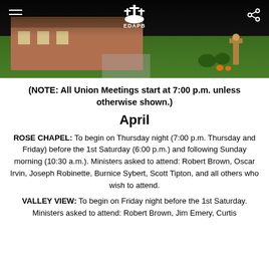[Figure (photo): Outdoor photo of a church building with green lawn and fall decorations, shown behind a dark header bar with EDAPB logo, hamburger menu icon, and share icon.]
(NOTE: All Union Meetings start at 7:00 p.m. unless otherwise shown.)
April
ROSE CHAPEL: To begin on Thursday night (7:00 p.m. Thursday and Friday) before the 1st Saturday (6:00 p.m.) and following Sunday morning (10:30 a.m.). Ministers asked to attend: Robert Brown, Oscar Irvin, Joseph Robinette, Burnice Sybert, Scott Tipton, and all others who wish to attend.
VALLEY VIEW: To begin on Friday night before the 1st Saturday. Ministers asked to attend: Robert Brown, Jim Emery, Curtis